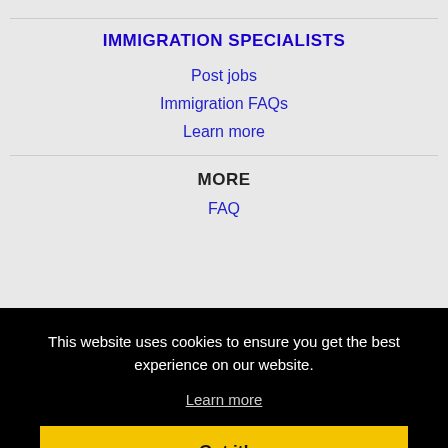IMMIGRATION SPECIALISTS
Post jobs
Immigration FAQs
Learn more
MORE
FAQ
This website uses cookies to ensure you get the best experience on our website.
Learn more
Got it!
Aliso Viejo, CA Jobs